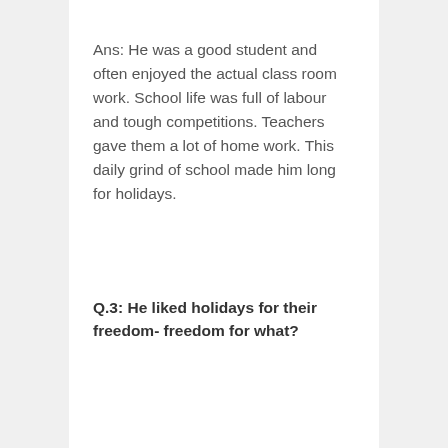Ans: He was a good student and often enjoyed the actual class room work. School life was full of labour and tough competitions. Teachers gave them a lot of home work. This daily grind of school made him long for holidays.
Q.3: He liked holidays for their freedom- freedom for what?